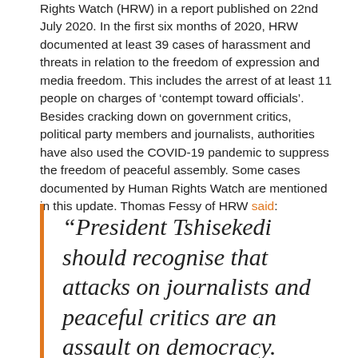Rights Watch (HRW) in a report published on 22nd July 2020. In the first six months of 2020, HRW documented at least 39 cases of harassment and threats in relation to the freedom of expression and media freedom. This includes the arrest of at least 11 people on charges of 'contempt toward officials'. Besides cracking down on government critics, political party members and journalists, authorities have also used the COVID-19 pandemic to suppress the freedom of peaceful assembly. Some cases documented by Human Rights Watch are mentioned in this update. Thomas Fessy of HRW said:
“President Tshisekedi should recognise that attacks on journalists and peaceful critics are an assault on democracy. Unless Tshisekedi stops